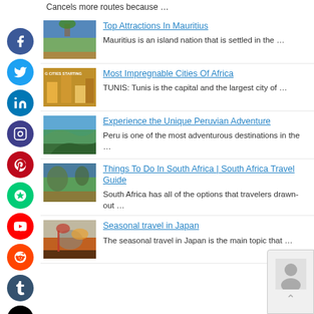Cancels more routes because …
Top Attractions In Mauritius — Mauritius is an island nation that is settled in the …
Most Impregnable Cities Of Africa — TUNIS: Tunis is the capital and the largest city of …
Experience the Unique Peruvian Adventure — Peru is one of the most adventurous destinations in the …
Things To Do In South Africa | South Africa Travel Guide — South Africa has all of the options that travelers drawn-out …
Seasonal travel in Japan — The seasonal travel in Japan is the main topic that …
[Figure (other): Social media share buttons sidebar: Facebook, Twitter, LinkedIn, Instagram, Pinterest, Mix, YouTube, Reddit, Tumblr, Digg]